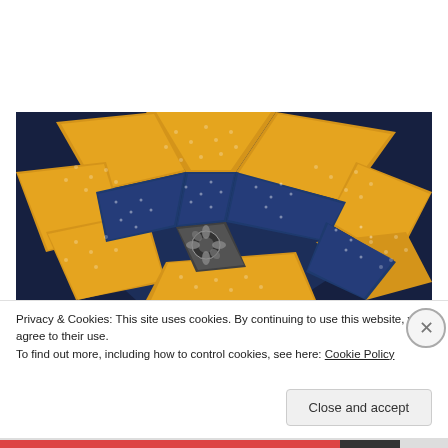[Figure (photo): A quilt block featuring a pinwheel/star pattern made from navy blue and golden yellow patterned fabrics, with a dark gray floral print center, photographed on a dark navy background.]
Privacy & Cookies: This site uses cookies. By continuing to use this website, you agree to their use.
To find out more, including how to control cookies, see here: Cookie Policy
Close and accept